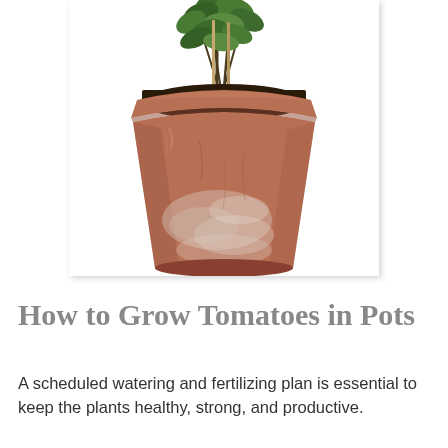[Figure (photo): A terracotta clay pot with a tomato plant growing in it, shown against a white background. The pot is weathered and aged with white mineral deposits on the lower half. The plant has green leafy stems with wooden stakes for support.]
How to Grow Tomatoes in Pots
A scheduled watering and fertilizing plan is essential to keep the plants healthy, strong, and productive.